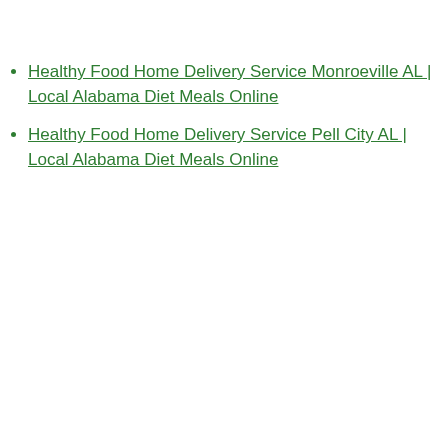Healthy Food Home Delivery Service Monroeville AL | Local Alabama Diet Meals Online
Healthy Food Home Delivery Service Pell City AL | Local Alabama Diet Meals Online